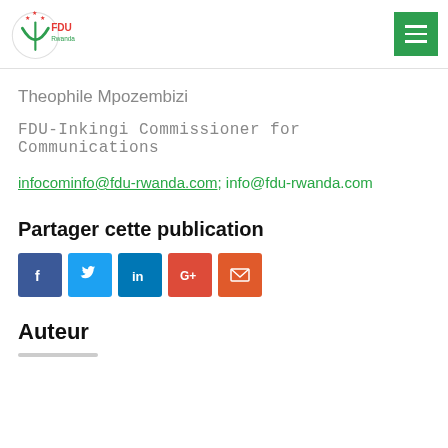FDU Rwanda logo and navigation menu
Theophile Mpozembizi
FDU-Inkingi Commissioner for Communications
infocominfo@fdu-rwanda.com; info@fdu-rwanda.com
Partager cette publication
[Figure (infographic): Social media share buttons: Facebook, Twitter, LinkedIn, Google+, Email]
Auteur